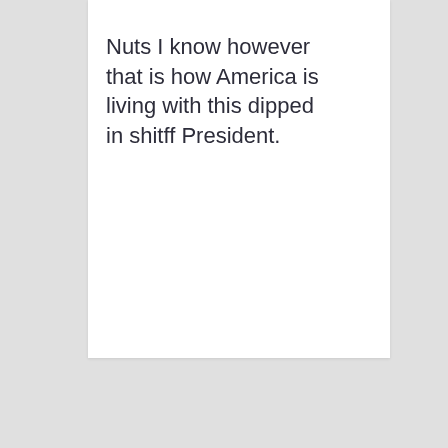Nuts I know however that is how America is living with this dipped in shitff President.